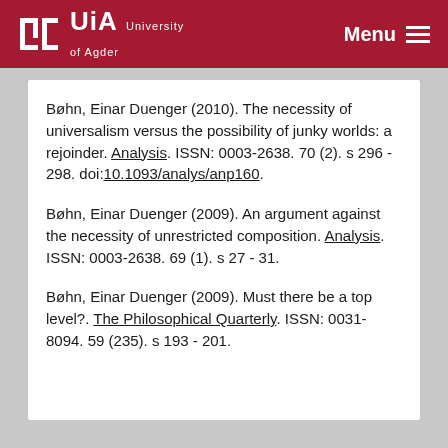UiA University of Agder | Menu
Bøhn, Einar Duenger (2010). The necessity of universalism versus the possibility of junky worlds: a rejoinder. Analysis. ISSN: 0003-2638. 70 (2). s 296 - 298. doi:10.1093/analys/anp160.
Bøhn, Einar Duenger (2009). An argument against the necessity of unrestricted composition. Analysis. ISSN: 0003-2638. 69 (1). s 27 - 31.
Bøhn, Einar Duenger (2009). Must there be a top level?. The Philosophical Quarterly. ISSN: 0031-8094. 59 (235). s 193 - 201.